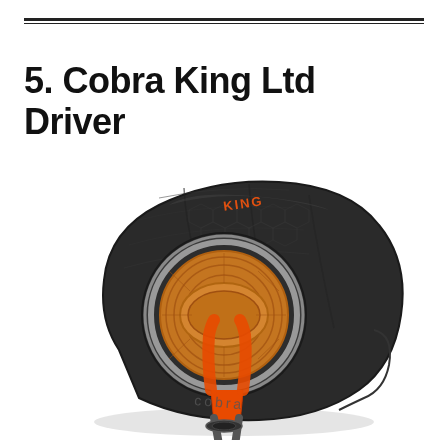5. Cobra King Ltd Driver
[Figure (photo): Top-down view of Cobra King Ltd Driver golf club head, dark gunmetal/black with orange accent stripe on the face and an orange circular CNC milled face insert with silver metallic ring, with 'KING' branding on crown and 'cobra' text on sole]